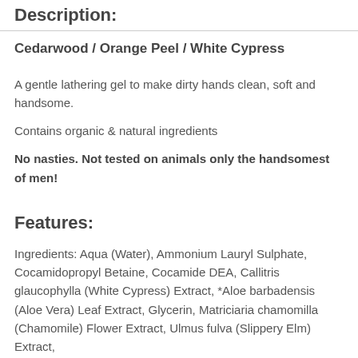Description:
Cedarwood / Orange Peel / White Cypress
A gentle lathering gel to make dirty hands clean, soft and handsome.
Contains organic & natural ingredients
No nasties. Not tested on animals only the handsomest of men!
Features:
Ingredients: Aqua (Water), Ammonium Lauryl Sulphate, Cocamidopropyl Betaine, Cocamide DEA, Callitris glaucophylla (White Cypress) Extract, *Aloe barbadensis (Aloe Vera) Leaf Extract, Glycerin, Matriciaria chamomilla (Chamomile) Flower Extract, Ulmus fulva (Slippery Elm) Extract,